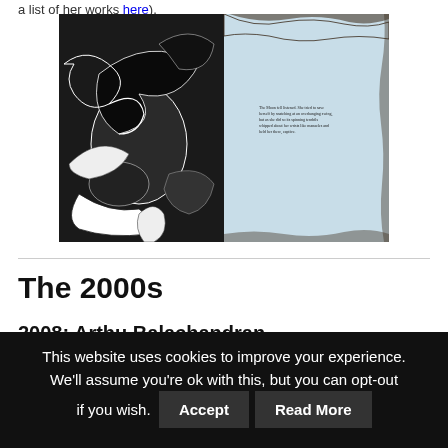a list of her works here).
[Figure (photo): Open illustrated book showing dark ink artwork on left page (dark swirling figures and patterns) and a light blue right page with decorative borders and small text]
The 2000s
2008: Arthu Balachandran
This website uses cookies to improve your experience. We'll assume you're ok with this, but you can opt-out if you wish. Accept Read More